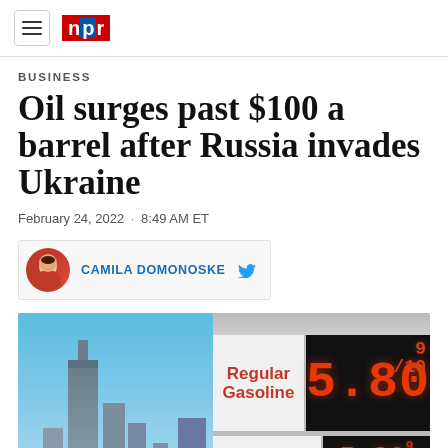NPR
BUSINESS
Oil surges past $100 a barrel after Russia invades Ukraine
February 24, 2022 · 8:49 AM ET
CAMILA DOMONOSKE
[Figure (photo): Gas station price sign showing Regular Gasoline at 5.80 9/10 and Plus below, with city skyline in background against blue sky]